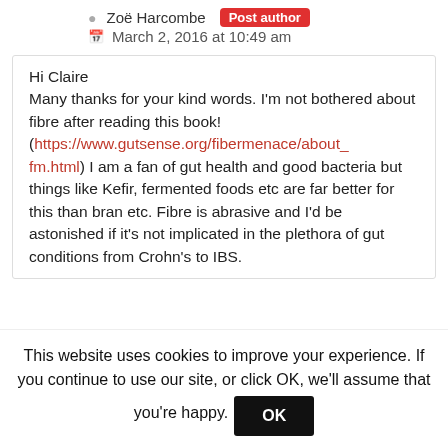Zoë Harcombe  Post author
March 2, 2016 at 10:49 am
Hi Claire
Many thanks for your kind words. I'm not bothered about fibre after reading this book! (https://www.gutsense.org/fibermenace/about_fm.html) I am a fan of gut health and good bacteria but things like Kefir, fermented foods etc are far better for this than bran etc. Fibre is abrasive and I'd be astonished if it's not implicated in the plethora of gut conditions from Crohn's to IBS.
This website uses cookies to improve your experience. If you continue to use our site, or click OK, we'll assume that you're happy.  OK